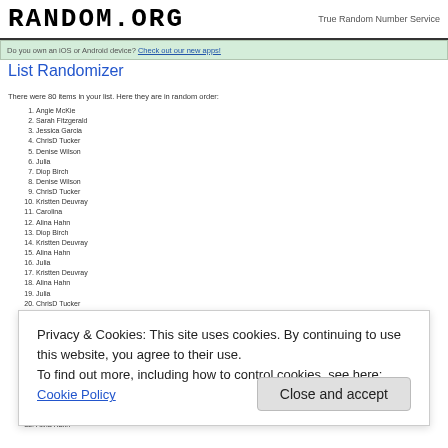RANDOM.ORG — True Random Number Service
Do you own an iOS or Android device? Check out our new apps!
List Randomizer
There were 80 items in your list. Here they are in random order:
1. Angie McKie
2. Sarah Fitzgerald
3. Jessica Garcia
4. ChrisD Tucker
5. Denise Wilson
6. Julia
7. Diop Birch
8. Denise Wilson
9. ChrisD Tucker
10. Kristten Deuvray
11. Carolina
12. Alina Hahn
13. Diop Birch
14. Kristten Deuvray
15. Alina Hahn
16. Julia
17. Kristten Deuvray
18. Alina Hahn
19. Julia
20. ChrisD Tucker
21. Kristy LaurentC
22. Carolina
23. Carolina
24. ChrisD Tucker
25. Kristten Deuvray
26. ChrisD Tucker
27. ChrisD Tucker
28. Julia
29. Diop Birch
30. Bobbi Houlier
31. Kristten Deuvray
32. Alina Hahn
Privacy & Cookies: This site uses cookies. By continuing to use this website, you agree to their use. To find out more, including how to control cookies, see here: Cookie Policy
Close and accept